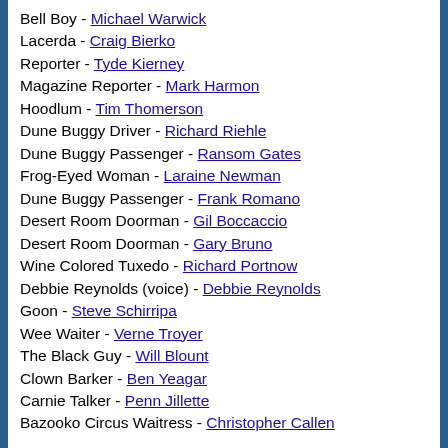Bell Boy - Michael Warwick
Lacerda - Craig Bierko
Reporter - Tyde Kierney
Magazine Reporter - Mark Harmon
Hoodlum - Tim Thomerson
Dune Buggy Driver - Richard Riehle
Dune Buggy Passenger - Ransom Gates
Frog-Eyed Woman - Laraine Newman
Dune Buggy Passenger - Frank Romano
Desert Room Doorman - Gil Boccaccio
Desert Room Doorman - Gary Bruno
Wine Colored Tuxedo - Richard Portnow
Debbie Reynolds (voice) - Debbie Reynolds
Goon - Steve Schirripa
Wee Waiter - Verne Troyer
The Black Guy - Will Blount
Clown Barker - Ben Yeagar
Carnie Talker - Penn Jillette
Bazooko Circus Waitress - Christopher Callen